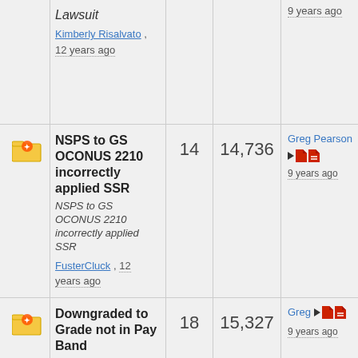|  | Title/Description | Replies | Views | Last Post |
| --- | --- | --- | --- | --- |
| [folder] | Lawsuit
Kimberly Risalvato, 12 years ago |  |  | 9 years ago |
| [folder] | NSPS to GS OCONUS 2210 incorrectly applied SSR
NSPS to GS OCONUS 2210 incorrectly applied SSR
FusterCluck, 12 years ago | 14 | 14,736 | Greg Pearson
9 years ago |
| [folder] | Downgraded to Grade not in Pay Band
Downgraded to Grade not in Pay Band
Lboogie, 12 years ago | 18 | 15,327 | Greg
9 years ago |